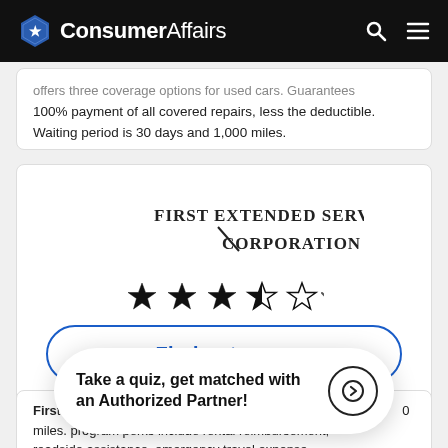ConsumerAffairs
offers three coverage options for used cars. Guarantees 100% payment of all covered repairs, less the deductible. Waiting period is 30 days and 1,000 miles.
[Figure (logo): First Extended Service Corporation logo with stylized text and diagonal slash]
[Figure (other): Star rating: 2.5 out of 5 stars]
Find out more
AUTHORIZED PARTNER
First Extended Service Corporation. Get matched... miles. Program perks include rental reimbursement, roadside assistance, emergency travel expense
Take a quiz, get matched with an Authorized Partner!